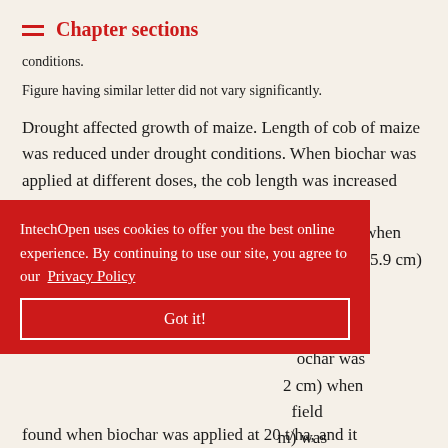Chapter sections
conditions.
Figure having similar letter did not vary significantly.
Drought affected growth of maize. Length of cob of maize was reduced under drought conditions. When biochar was applied at different doses, the cob length was increased under drought conditions ( Table 9 ). Under control condition highest cob length (17.6 cm) was found when biochar was applied at 20 t/ha, and it was lowest (15.9 cm) when no biochar was applied. Under drought conditions, highest cob length was found when biochar was applied ... (17.2 cm) when ... field ... m) was found when biochar was applied at 20 t/ha, and it
IntechOpen uses cookies to offer you the best online experience. By continuing to use our site, you agree to our Privacy Policy
Got it!